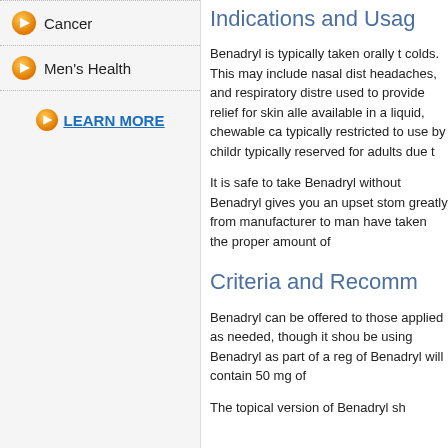Cancer
Men's Health
LEARN MORE
Indications and Usag…
Benadryl is typically taken orally to treat colds. This may include nasal dist… headaches, and respiratory distre… used to provide relief for skin alle… available in a liquid, chewable cap… typically restricted to use by childr… typically reserved for adults due t…
It is safe to take Benadryl without… Benadryl gives you an upset stom… greatly from manufacturer to man… have taken the proper amount of …
Criteria and Recomm…
Benadryl can be offered to those … applied as needed, though it shou… be using Benadryl as part of a reg… of Benadryl will contain 50 mg of …
The topical version of Benadryl sh…